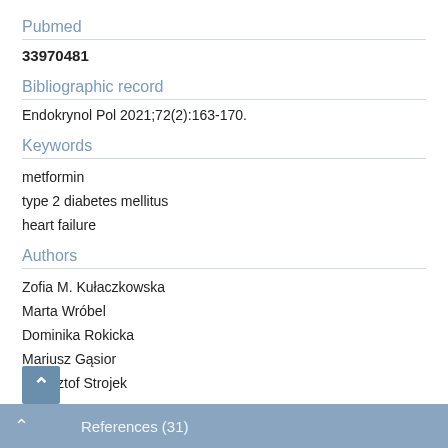Pubmed
33970481
Bibliographic record
Endokrynol Pol 2021;72(2):163-170.
Keywords
metformin
type 2 diabetes mellitus
heart failure
Authors
Zofia M. Kułaczkowska
Marta Wróbel
Dominika Rokicka
Mariusz Gąsior
Krzysztof Strojek
References (31)